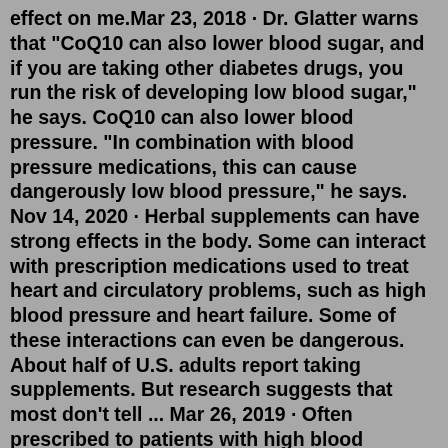effect on me.Mar 23, 2018 · Dr. Glatter warns that "CoQ10 can also lower blood sugar, and if you are taking other diabetes drugs, you run the risk of developing low blood sugar," he says. CoQ10 can also lower blood pressure. "In combination with blood pressure medications, this can cause dangerously low blood pressure," he says. Nov 14, 2020 · Herbal supplements can have strong effects in the body. Some can interact with prescription medications used to treat heart and circulatory problems, such as high blood pressure and heart failure. Some of these interactions can even be dangerous. About half of U.S. adults report taking supplements. But research suggests that most don't tell ... Mar 26, 2019 · Often prescribed to patients with high blood pressure or congestive heart failure, diuretics (aka water pills) help your kidneys remove excess water from your body. ... like gabapentin and ... Mar 26, 2019 · Often prescribed to patients with high blood pressure or congestive heart failure, diuretics (aka water pills) help your kidneys remove excess water from your body.